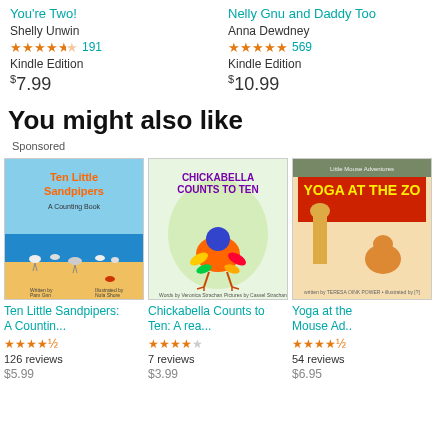You're Two! — Shelly Unwin, 4.5 stars, 191 reviews, Kindle Edition, $7.99
Nelly Gnu and Daddy Too — Anna Dewdney, 5 stars, 569 reviews, Kindle Edition, $10.99
You might also like
Sponsored
[Figure (illustration): Book cover: Ten Little Sandpipers: A Counting Book]
Ten Little Sandpipers: A Countin... 4.5 stars 126 reviews
[Figure (illustration): Book cover: Chickabella Counts to Ten: A rea...]
Chickabella Counts to Ten: A rea... 4 stars 7 reviews
[Figure (illustration): Book cover: Yoga at the Mouse Ad..]
Yoga at the Mouse Ad.. 4.5 stars 54 reviews